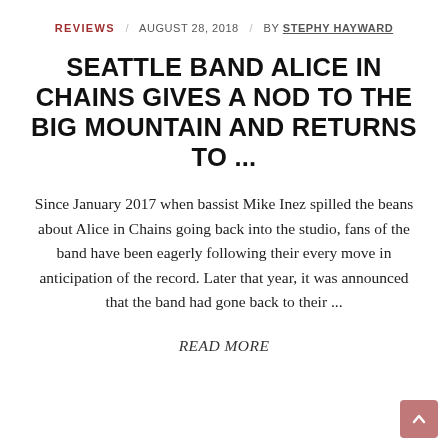REVIEWS / AUGUST 28, 2018 / BY STEPHY HAYWARD
SEATTLE BAND ALICE IN CHAINS GIVES A NOD TO THE BIG MOUNTAIN AND RETURNS TO ...
Since January 2017 when bassist Mike Inez spilled the beans about Alice in Chains going back into the studio, fans of the band have been eagerly following their every move in anticipation of the record. Later that year, it was announced that the band had gone back to their ...
READ MORE